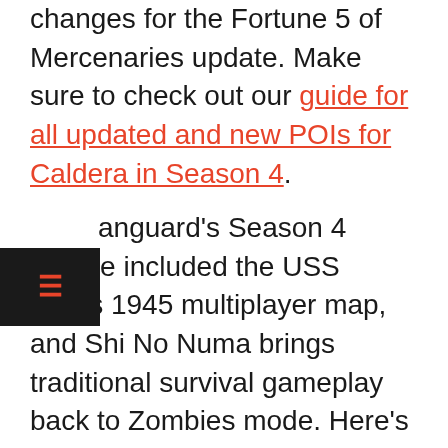changes for the Fortune 5 of Mercenaries update. Make sure to check out our guide for all updated and new POIs for Caldera in Season 4.
[Figure (other): hamburger menu button icon (three horizontal lines) on black background]
Vanguard's Season 4 update included the USS Texas 1945 multiplayer map, and Shi No Numa brings traditional survival gameplay back to Zombies mode. Here's our Shi No Numa perk guide and tips for surviving high rounds.
GameSpot may get a commission from retail offers.
The products discussed here were independently chosen by our editors